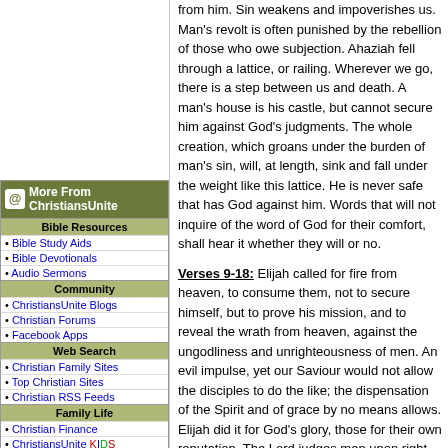from him. Sin weakens and impoverishes us. Man's revolt is often punished by the rebellion of those who owe subjection. Ahaziah fell through a lattice, or railing. Wherever we go, there is a step between us and death. A man's house is his castle, but cannot secure him against God's judgments. The whole creation, which groans under the burden of man's sin, will, at length, sink and fall under the weight like this lattice. He is never safe that has God against him. Words that will not inquire of the word of God for their comfort, shall hear it whether they will or no.
Verses 9-18: Elijah called for fire from heaven, to consume them, not to secure himself, but to prove his mission, and to reveal the wrath from heaven, against the ungodliness and unrighteousness of men. An evil impulse, yet our Saviour would not allow the disciples to do the like; the dispensation of the Spirit and of grace by no means allows. Elijah did it for God's glory, those for their own reputation. The Lord judges men upon right principles, and his judgment is according to truth. The third captain humbled and cast himself upon the mercy of God and Elijah. There is no way of contending with God; and those are wise for themselves, who see the fatal end of obstinacy in others. The courage of faith has often struck a heart of the proudest sinner. So thunderstruck is Ahaziah when he lay, that neither he, nor any about him, offer him violence. Who can secure for shelters? Many who think to prosper in sin, are called hence when they do not expect it. All warns us to seek the Lord while he may be found.
No More | Chapter 2
2nd Kings Index | Books Index
Go To Chapter:
1  Go
More From ChristiansUnite
Bible Resources
Bible Study Aids
Bible Devotionals
Audio Sermons
Community
ChristiansUnite Blogs
Christian Forums
Facebook Apps
Web Search
Christian Family Sites
Top Christian Sites
Christian RSS Feeds
Family Life
Christian Finance
ChristiansUnite KIDS
Shop
Christian Magazines
Christian Book Store
Read
Christian News
Christian Columns
Christian Song Lyrics